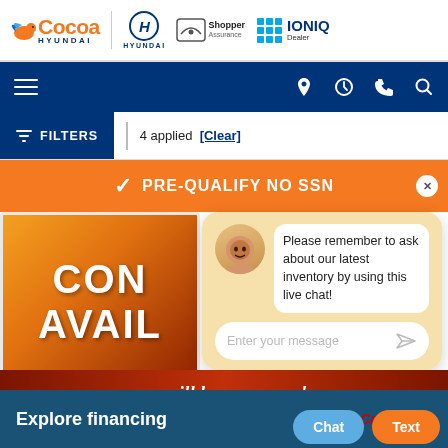[Figure (screenshot): Cocoa Hyundai dealership website screenshot showing header with Cocoa Hyundai logo, Hyundai logo, Shopper Assurance badge, and IONIQ Dealer badge]
FILTERS | 4 applied [Clear]
[Figure (screenshot): Orange pre-qualify banner reading PRE-QUALIFY NO SSN with X close button, a car inventory card showing CON AVAIL text, a chat popup with agent avatar and message 'Please remember to ask about our latest inventory by using this live chat!' and message input field]
WE WILL BUY YOUR CAR!
Explore financing
[Figure (logo): Capital One logo]
Chat
Text